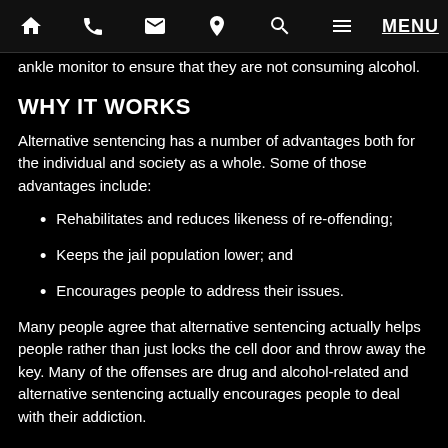Navigation bar with home, phone, email, location, search, menu icons and MENU label
ankle monitor to ensure that they are not consuming alcohol.
WHY IT WORKS
Alternative sentencing has a number of advantages both for the individual and society as a whole. Some of those advantages include:
Rehabilitates and reduces likeness of re-offending;
Keeps the jail population lower; and
Encourages people to address their issues.
Many people agree that alternative sentencing actually helps people rather than just locks the cell door and throw away the key. Many of the offenses are drug and alcohol-related and alternative sentencing actually encourages people to deal with their addiction.